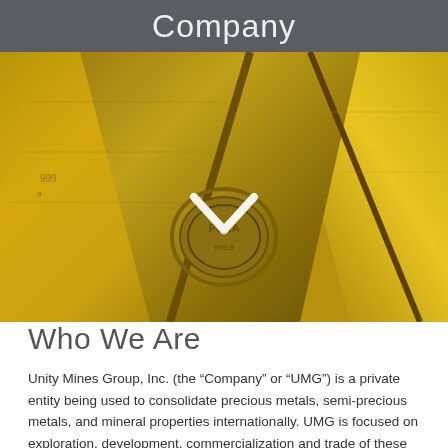Company
[Figure (photo): Close-up photograph of gold bars/bullion with stamps and markings, with a white chevron/check mark overlay in the center]
Who We Are
Unity Mines Group, Inc. (the “Company” or “UMG”) is a private entity being used to consolidate precious metals, semi-precious metals, and mineral properties internationally. UMG is focused on exploration, development, commercialization and trade of these valuable commodities. UMG is choosing the highest quality gold and mineral projects that have real prospects for economic development to include in its portfolio. To date UMG